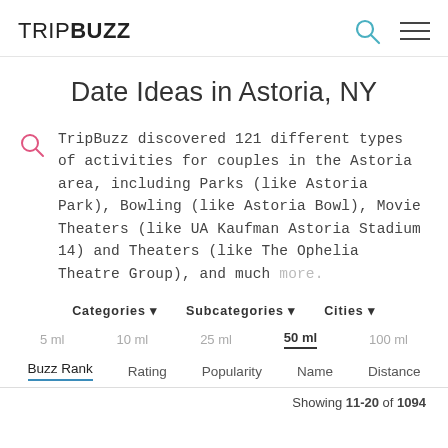TRIPBUZZ
Date Ideas in Astoria, NY
TripBuzz discovered 121 different types of activities for couples in the Astoria area, including Parks (like Astoria Park), Bowling (like Astoria Bowl), Movie Theaters (like UA Kaufman Astoria Stadium 14) and Theaters (like The Ophelia Theatre Group), and much more.
Categories ▾   Subcategories ▾   Cities ▾
5 ml   10 ml   25 ml   50 ml   100 ml
Buzz Rank   Rating   Popularity   Name   Distance
Showing 11-20 of 1094